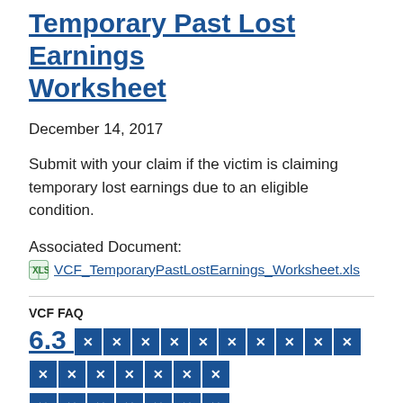Temporary Past Lost Earnings Worksheet
December 14, 2017
Submit with your claim if the victim is claiming temporary lost earnings due to an eligible condition.
Associated Document:
VCF_TemporaryPastLostEarnings_Worksheet.xls
VCF FAQ
6.3 [redacted]
November 14, 2017